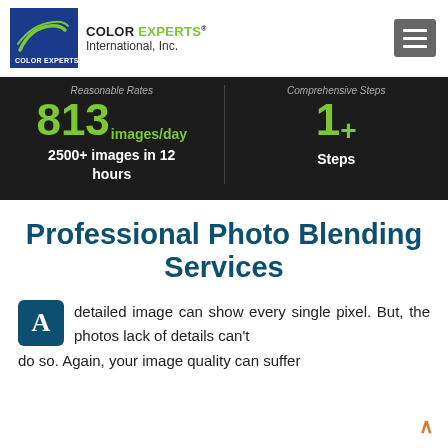[Figure (logo): Color Experts International, Inc. logo with blue square logo mark and company name]
813 images/day
2500+ images in 12 hours
1+ Steps
Professional Photo Blending Services
A detailed image can show every single pixel. But, the photos lack of details can't do so. Again, your image quality can suffer badly from